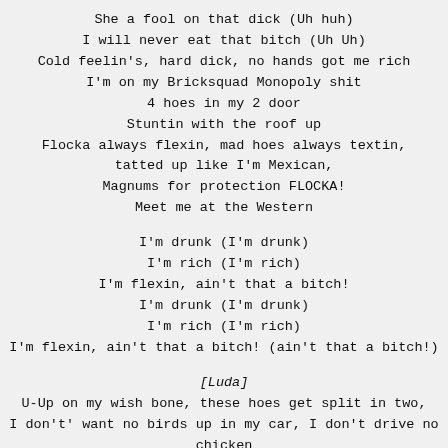She a fool on that dick (Uh huh)
I will never eat that bitch (Uh Uh)
Cold feelin's, hard dick, no hands got me rich
I'm on my Bricksquad Monopoly shit
4 hoes in my 2 door
Stuntin with the roof up
Flocka always flexin, mad hoes always textin,
tatted up like I'm Mexican,
Magnums for protection FLOCKA!
Meet me at the Western

I'm drunk (I'm drunk)
I'm rich (I'm rich)
I'm flexin, ain't that a bitch!
I'm drunk (I'm drunk)
I'm rich (I'm rich)
I'm flexin, ain't that a bitch! (ain't that a bitch!)

[Luda]
U-Up on my wish bone, these hoes get split in two,
I don't' want no birds up in my car, I don't drive no chicken coop,
I'll be out in that new Ferrari, I be spilling out champagne